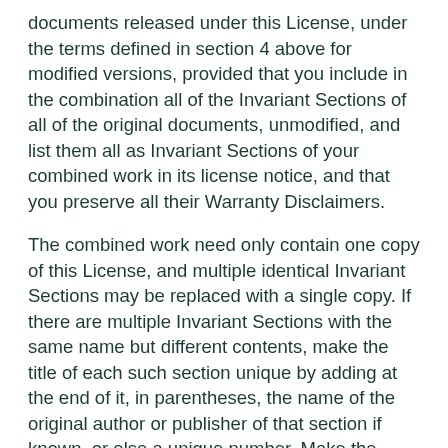documents released under this License, under the terms defined in section 4 above for modified versions, provided that you include in the combination all of the Invariant Sections of all of the original documents, unmodified, and list them all as Invariant Sections of your combined work in its license notice, and that you preserve all their Warranty Disclaimers.
The combined work need only contain one copy of this License, and multiple identical Invariant Sections may be replaced with a single copy. If there are multiple Invariant Sections with the same name but different contents, make the title of each such section unique by adding at the end of it, in parentheses, the name of the original author or publisher of that section if known, or else a unique number. Make the same adjustment to the section titles in the list of Invariant Sections in the license notice of the combined work.
In the combination, you must combine any...